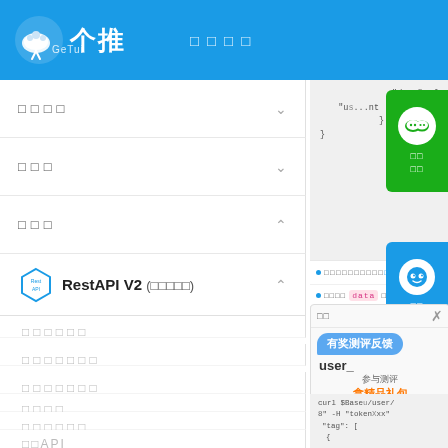个推 GeTui - 文档导航页面
□□□□ (折叠菜单)
□□□ (折叠菜单)
□□□ (展开菜单)
RestAPI V2 (□□□□□) - 展开
□□□□□□
□□□□□□□
□□□□□□□
□□□□
□□□□□□
□□API
[Figure (screenshot): Code block showing JSON with data and user fields, WeChat share card overlay, bullet items with links, and a survey feedback popup with 有奖测评反馈, 参与测评, 拿精品礼包, 立即参与 button, and curl code snippet]